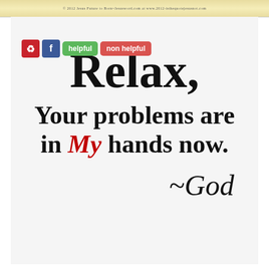© 2012 Jesus Future to Born~Jesusword.com at www.2012-isthequotejesusnot.com
[Figure (screenshot): Social sharing buttons: Pinterest (red), Facebook (blue), helpful (green), non helpful (red)]
Relax,
Your problems are in My hands now.
~God